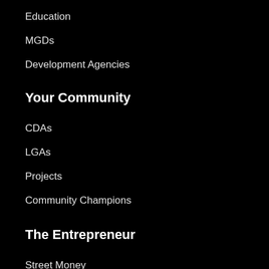Education
MGDs
Development Agencies
Your Community
CDAs
LGAs
Projects
Community Champions
The Entrepreneur
Street Money
SMEs
Youthprenuers
Agriprenuers
Capacity Building
Specials
Lifestyle